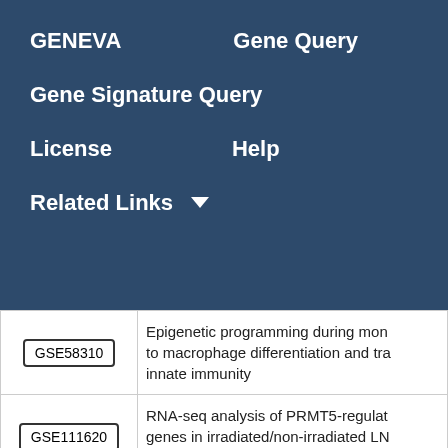GENEVA   Gene Query
Gene Signature Query
License   Help
Related Links ▾
| ID | Description |
| --- | --- |
| GSE58310 | Epigenetic programming during monocyte to macrophage differentiation and training of innate immunity |
| GSE111620 | RNA-seq analysis of PRMT5-regulated genes in irradiated/non-irradiated LN cells |